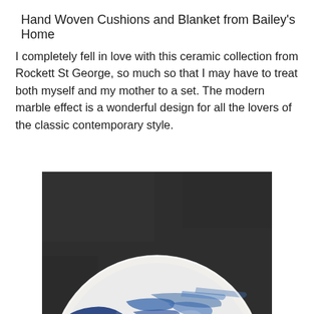Hand Woven Cushions and Blanket from Bailey's Home
I completely fell in love with this ceramic collection from Rockett St George, so much so that I may have to treat both myself and my mother to a set. The modern marble effect is a wonderful design for all the lovers of the classic contemporary style.
[Figure (photo): Close-up overhead photograph of a white ceramic bowl with deep blue marble-effect glaze pattern on a dark grey background. The bowl shows a dramatic swirling blue and white design reminiscent of indigo marble.]